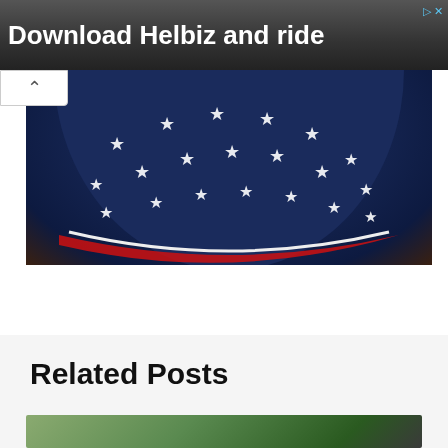[Figure (photo): Advertisement banner for Helbiz scooter app with dark background showing person on street. Text reads 'Download Helbiz and ride' with an ad badge in the top right corner.]
[Figure (photo): Product photo showing a dark navy blue hat with white stars in an arc pattern, trimmed with red and white, reminiscent of American flag design. Background is dark/blurred.]
Tap Here to Order
Related Posts
[Figure (photo): Thumbnail image at bottom of page showing outdoor scene, partially visible.]